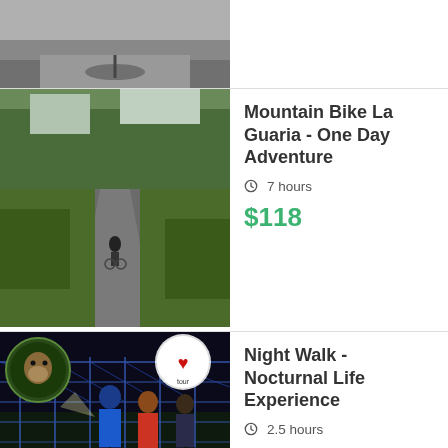[Figure (photo): Partial top image showing a bike shadow on a road, cropped at top of page]
Mountain Bike La Guaria - One Day Adventure
7 hours
$118
[Figure (photo): Night walk scene with people standing at a chain-link fence with a monkey in a circular logo overlay and a tour logo]
Night Walk - Nocturnal Life Experience
2.5 hours
$59